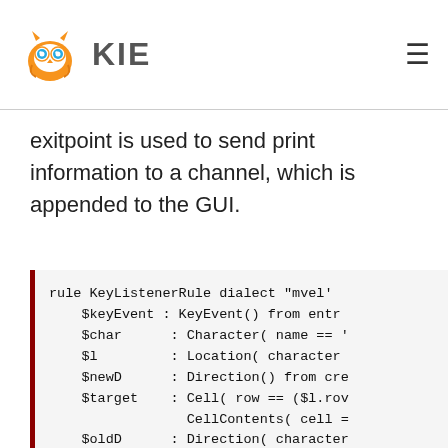KIE
exitpoint is used to send print information to a channel, which is appended to the GUI.
[Figure (screenshot): Code block showing a Drools rule named KeyListenerRule with dialect mvel, containing when clause with $keyEvent, $char, $l, $newD, $target, $oldD bindings, and then clause with exitPoints, retract, and insert calls]